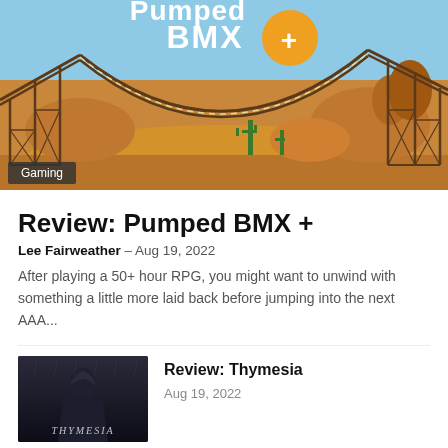[Figure (screenshot): Hero image showing a colorful BMX game scene with roller-coaster-like wooden structures in a desert landscape with cacti. Text 'Pumped BMX +' visible at top center. A 'Gaming' tag is overlaid at bottom left.]
Review: Pumped BMX +
Lee Fairweather – Aug 19, 2022
After playing a 50+ hour RPG, you might want to unwind with something a little more laid back before jumping into the next AAA...
[Figure (screenshot): Thumbnail for Thymesia review: dark atmospheric image with hooded figure and 'THYMESIA' text overlay.]
Review: Thymesia
Aug 19, 2022
[Figure (screenshot): Thumbnail for Best Month Ever! review: bold yellow text on dark red background reading 'BEST MONTH EVER!' with a female character.]
Review: Best Month Ever!
Aug 19, 2022